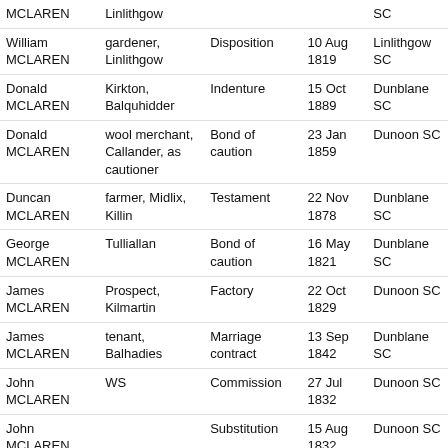| Name | Description | Document Type | Date | Court |
| --- | --- | --- | --- | --- |
| MCLAREN | Linlithgow |  |  | SC |
| William MCLAREN | gardener, Linlithgow | Disposition | 10 Aug 1819 | Linlithgow SC |
| Donald MCLAREN | Kirkton, Balquhidder | Indenture | 15 Oct 1889 | Dunblane SC |
| Donald MCLAREN | wool merchant, Callander, as cautioner | Bond of caution | 23 Jan 1859 | Dunoon SC |
| Duncan MCLAREN | farmer, Midlix, Killin | Testament | 22 Nov 1878 | Dunblane SC |
| George MCLAREN | Tulliallan | Bond of caution | 16 May 1821 | Dunblane SC |
| James MCLAREN | Prospect, Kilmartin | Factory | 22 Oct 1829 | Dunoon SC |
| James MCLAREN | tenant, Balhadies | Marriage contract | 13 Sep 1842 | Dunblane SC |
| John MCLAREN | WS | Commission | 27 Jul 1832 | Dunoon SC |
| John MCLAREN |  | Substitution | 15 Aug 1832 | Dunoon SC |
| John MCLAREN | WS | Commission | 31 Jul 1835 | Dunoon SC |
| John MCLAREN | Deanston, | Testament | 25 Jul 1849 | Dunblane |